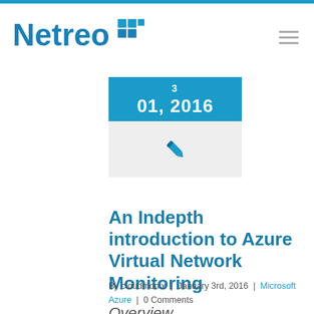Netreo
[Figure (other): Calendar icon showing date 01, 2016 with blue header and pen icon below]
An Indepth introduction to Azure Virtual Network Monitoring
By cloudmonix | January 3rd, 2016 | Microsoft Azure | 0 Comments
Overview